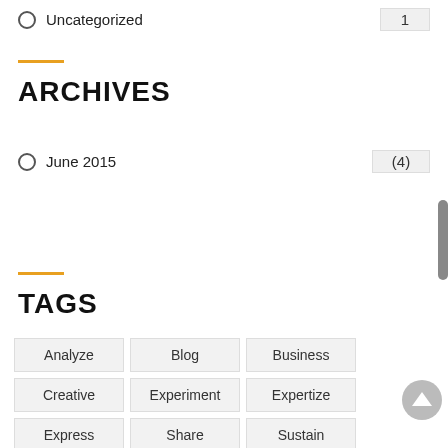○ Uncategorized   1
ARCHIVES
○ June 2015   (4)
TAGS
Analyze
Blog
Business
Creative
Experiment
Expertize
Express
Share
Sustain